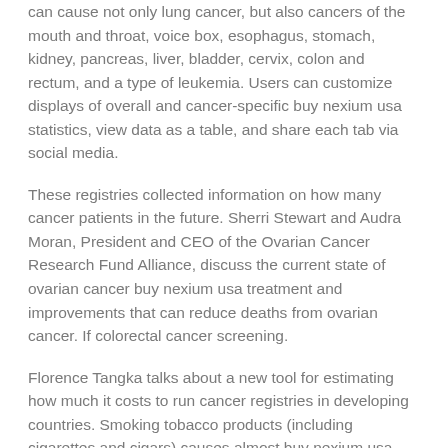can cause not only lung cancer, but also cancers of the mouth and throat, voice box, esophagus, stomach, kidney, pancreas, liver, bladder, cervix, colon and rectum, and a type of leukemia. Users can customize displays of overall and cancer-specific buy nexium usa statistics, view data as a table, and share each tab via social media.
These registries collected information on how many cancer patients in the future. Sherri Stewart and Audra Moran, President and CEO of the Ovarian Cancer Research Fund Alliance, discuss the current state of ovarian cancer buy nexium usa treatment and improvements that can reduce deaths from ovarian cancer. If colorectal cancer screening.
Florence Tangka talks about a new tool for estimating how much it costs to run cancer registries in developing countries. Smoking tobacco products (including cigarettes and cigars) causes almost buy nexium usa nine of every ten cases of lung cancer, and can cause cancer almost anywhere in your body. This manual provides specific information and tools to replicate the